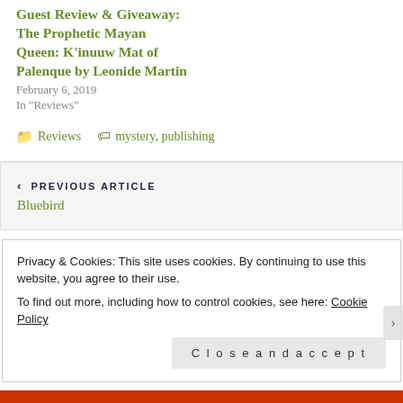Guest Review & Giveaway: The Prophetic Mayan Queen: K'inuuw Mat of Palenque by Leonide Martin
February 6, 2019
In "Reviews"
Reviews   mystery, publishing
< PREVIOUS ARTICLE
Bluebird
Privacy & Cookies: This site uses cookies. By continuing to use this website, you agree to their use.
To find out more, including how to control cookies, see here: Cookie Policy
Close and accept